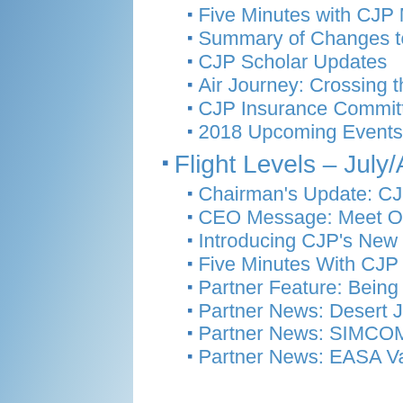Five Minutes with CJP Member: Da…
Summary of Changes to CJP By-L…
CJP Scholar Updates
Air Journey: Crossing the Atlantic
CJP Insurance Committee: Umbre…
2018 Upcoming Events
Flight Levels – July/August 2018
Chairman's Update: CJP Growth/C…
CEO Message: Meet Our Newest M…
Introducing CJP's New Rockwell C…
Five Minutes With CJP Member: Ya…
Partner Feature: Being a Professio…
Partner News: Desert Jet Receives…
Partner News: SIMCOM Adds Mus…
Partner News: EASA Validation for…